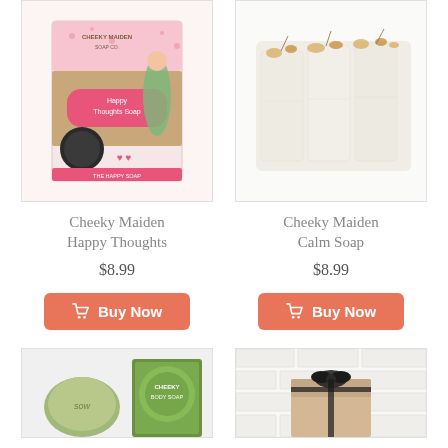[Figure (photo): Cheeky Maiden Happy Thoughts soap product photo - pink and brown packaging with illustrated girl]
[Figure (photo): Cheeky Maiden Calm Soap product photo - white cream-colored bar soap slices with dried flowers on top]
Cheeky Maiden Happy Thoughts
$8.99
Buy Now
Cheeky Maiden Calm Soap
$8.99
Buy Now
[Figure (photo): Partial view of a green soap bar and green boxed soap product]
[Figure (photo): Partial view of a white brick background with a black ribbon-tied gift box]